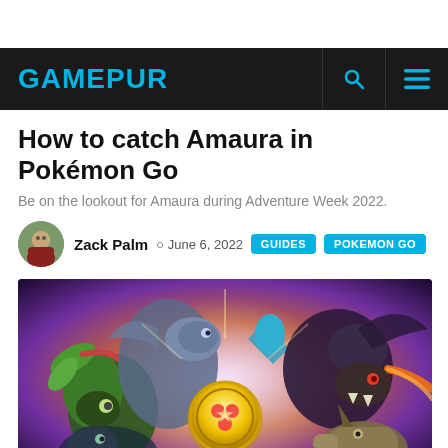GAMEPUR
How to catch Amaura in Pokémon Go
Be on the lookout for Amaura during Adventure Week 2022.
Zack Palm  June 6, 2022  GUIDES  POKEMON GO
[Figure (illustration): Pokémon Go promotional artwork showing various Pokémon including dragon-type creatures battling, with a glowing gold coin/medallion featuring a Pokémon symbol in the center]